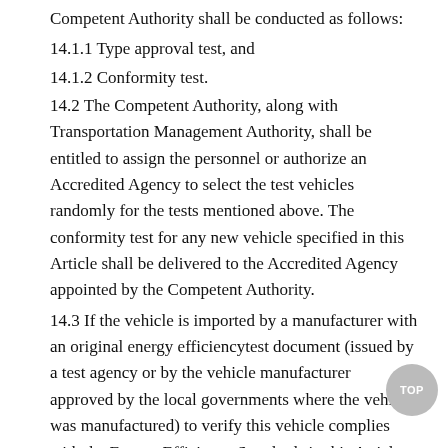Competent Authority shall be conducted as follows:
14.1.1 Type approval test, and
14.1.2 Conformity test.
14.2 The Competent Authority, along with Transportation Management Authority, shall be entitled to assign the personnel or authorize an Accredited Agency to select the test vehicles randomly for the tests mentioned above. The conformity test for any new vehicle specified in this Article shall be delivered to the Accredited Agency appointed by the Competent Authority.
14.3 If the vehicle is imported by a manufacturer with an original energy efficiencytest document (issued by a test agency or by the vehicle manufacturer approved by the local governments where the vehicle was manufactured) to verify this vehicle complies with the Energy Efficiency Standards in this Article, the type approval test can be waived. The application shall be filed to the Competent Authority for a fuel